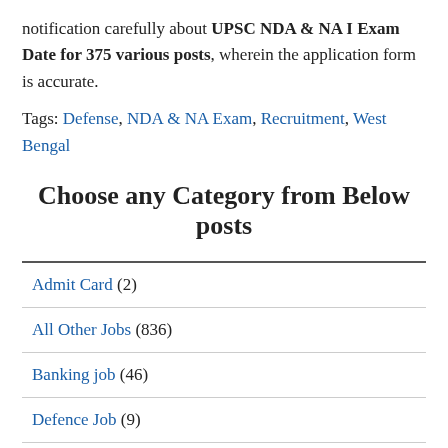notification carefully about UPSC NDA & NA I Exam Date for 375 various posts, wherein the application form is accurate.
Tags: Defense, NDA & NA Exam, Recruitment, West Bengal
Choose any Category from Below posts
Admit Card (2)
All Other Jobs (836)
Banking job (46)
Defence Job (9)
Defense (16)
Defense Jobs (97)
Education (83)